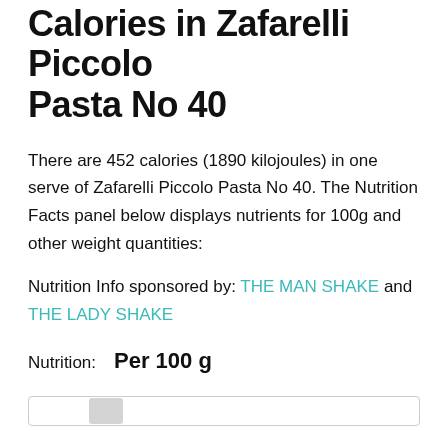Calories in Zafarelli Piccolo Pasta No 40
There are 452 calories (1890 kilojoules) in one serve of Zafarelli Piccolo Pasta No 40. The Nutrition Facts panel below displays nutrients for 100g and other weight quantities:
Nutrition Info sponsored by: THE MAN SHAKE and THE LADY SHAKE
Nutrition:  Per 100 g